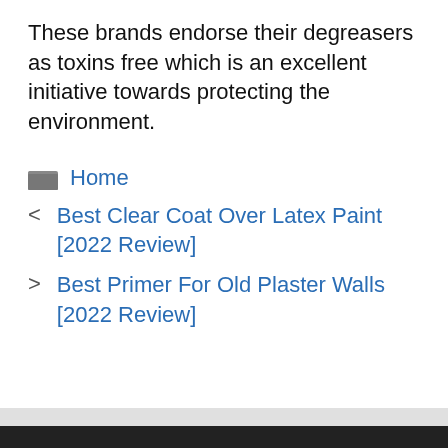These brands endorse their degreasers as toxins free which is an excellent initiative towards protecting the environment.
Home
Best Clear Coat Over Latex Paint [2022 Review]
Best Primer For Old Plaster Walls [2022 Review]